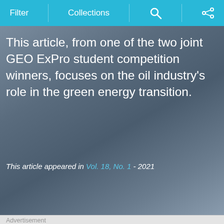Filter | Collections | [search icon] | [share icon]
This article, from one of the two joint GEO ExPro student competition winners, focuses on the oil industry's role in the green energy transition.
This article appeared in Vol. 18, No. 1 - 2021
Advertisement
[Figure (logo): Xcalibur Multiphysics logo on an orange-red gradient background. Large stylized X in red on the left, followed by white text reading 'calibur' and below it 'MULTIPHYSICS' in spaced white capital letters.]